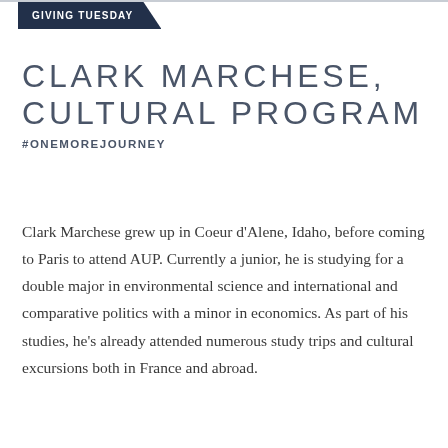GIVING TUESDAY
CLARK MARCHESE, CULTURAL PROGRAM
#ONEMOREJOURNEY
Clark Marchese grew up in Coeur d'Alene, Idaho, before coming to Paris to attend AUP. Currently a junior, he is studying for a double major in environmental science and international and comparative politics with a minor in economics. As part of his studies, he's already attended numerous study trips and cultural excursions both in France and abroad.